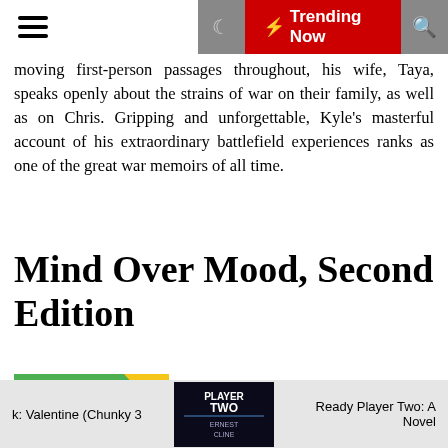≡  🌙  ⚡ Trending Now  🔍
moving first-person passages throughout, his wife, Taya, speaks openly about the strains of war on their family, as well as on Chris. Gripping and unforgettable, Kyle's masterful account of his extraordinary battlefield experiences ranks as one of the great war memoirs of all time.
Mind Over Mood, Second Edition
[Figure (photo): Book cover of Mind Over Mood, Second Edition with green, orange and purple sections]
Author: Dennis Greenberger,Christine A. Padesky
Editor: Guilford Publications
ISBN: 1462522939
FileSize: 1809kb
File Format: Pdf
k: Valentine (Chunky 3     Ready Player Two: A Novel